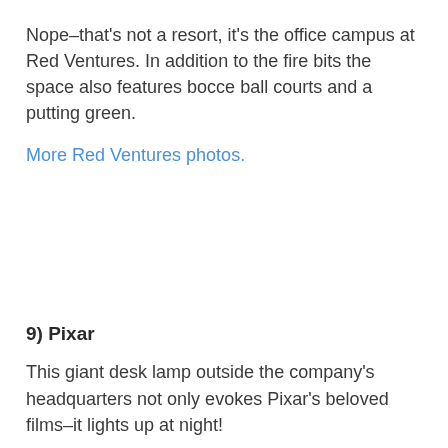Nope–that's not a resort, it's the office campus at Red Ventures. In addition to the fire bits the space also features bocce ball courts and a putting green.
More Red Ventures photos.
9) Pixar
This giant desk lamp outside the company's headquarters not only evokes Pixar's beloved films–it lights up at night!